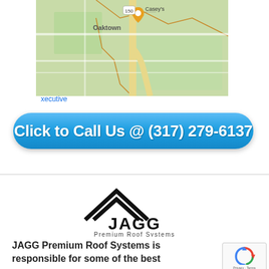[Figure (map): Google Maps screenshot showing Oaktown area with roads and Casey's label, location pin visible]
xecutive
Click to Call Us @ (317) 279-6137
[Figure (logo): JAGG Premium Roof Systems logo with double chevron/roof shape above the text JAGG and subtitle Premium Roof Systems]
JAGG Premium Roof Systems is responsible for some of the best